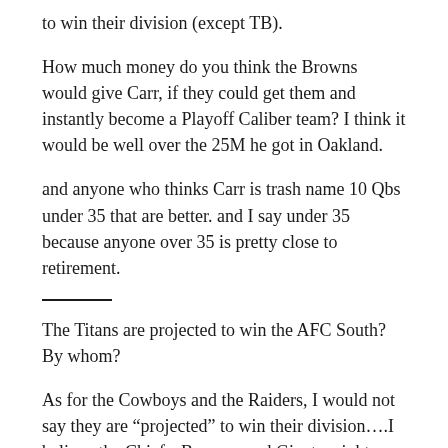to win their division (except TB).
How much money do you think the Browns would give Carr, if they could get them and instantly become a Playoff Caliber team? I think it would be well over the 25M he got in Oakland.
and anyone who thinks Carr is trash name 10 Qbs under 35 that are better. and I say under 35 because anyone over 35 is pretty close to retirement.
——
The Titans are projected to win the AFC South? By whom?
As for the Cowboys and the Raiders, I would not say they are “projected” to win their division….I believe the Chiefs, Broncos and Giants might have other ideas.
I am not saying Carr is not a decent QB….but remember all the bluster about Andy Dalton? What has he accomplished. The Raiders just paid a huge amount for a guy with zero playoff